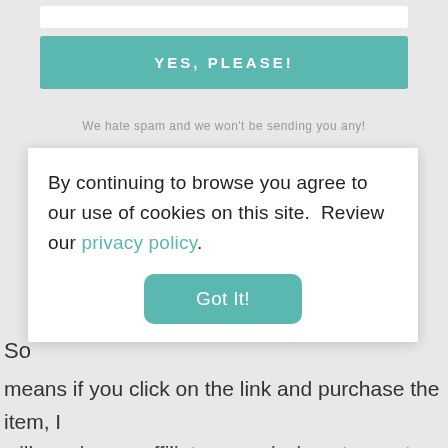[Figure (screenshot): Top section with white input bar and teal YES, PLEASE! button on grey background]
We hate spam and we won't be sending you any!
By continuing to browse you agree to our use of cookies on this site.  Review our privacy policy.
Got It!
So
means if you click on the link and purchase the item, I will receive an affiliate commission at no extra cost to you. I only promote products I believe in and all opinions remain my own.